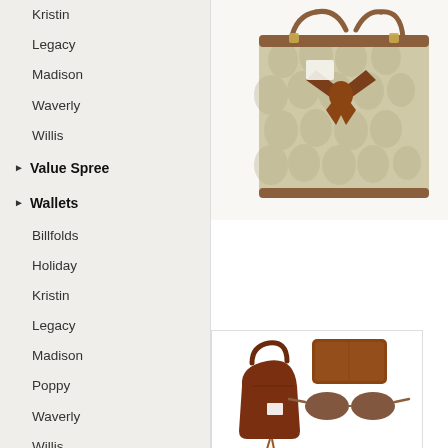Kristin
Legacy
Madison
Waverly
Willis
▶ Value Spree
▶ Wallets
Billfolds
Holiday
Kristin
Legacy
Madison
Poppy
Waverly
Willis
▶ Wristlets
Legacy
Madison
[Figure (photo): Coach signature monogram tote handbag in khaki/brass with brown leather bow detail and tag]
[Figure (photo): Coach legacy brown leather handbag with tassel, brown zip wallet, and brown sunglasses]